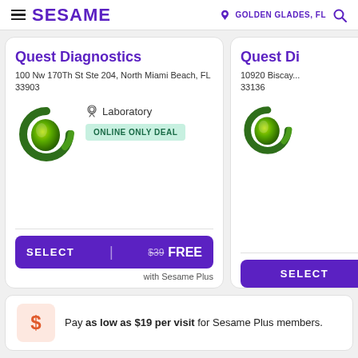SESAME | GOLDEN GLADES, FL
Quest Diagnostics
100 Nw 170Th St Ste 204, North Miami Beach, FL 33903
Laboratory
ONLINE ONLY DEAL
SELECT | $39 FREE
with Sesame Plus
Quest Di
10920 Biscay... 33136
SELECT
Pay as low as $19 per visit for Sesame Plus members.